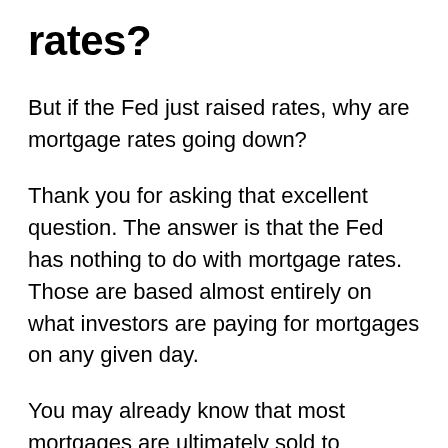rates?
But if the Fed just raised rates, why are mortgage rates going down?
Thank you for asking that excellent question. The answer is that the Fed has nothing to do with mortgage rates. Those are based almost entirely on what investors are paying for mortgages on any given day.
You may already know that most mortgages are ultimately sold to investors. Fannie Mae and Freddie Mac, two names that may be familiar, exist